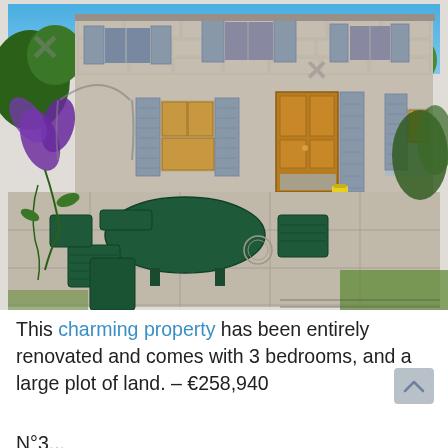[Figure (photo): Exterior photo of a renovated French stone farmhouse with blue-grey shutters, wooden doors, and a patio area with green garden furniture (table and chairs). Purple flowers visible on left. Yellow bucket near door. Sunny day.]
This charming property has been entirely renovated and comes with 3 bedrooms, and a large plot of land. – €258,940
N°3...